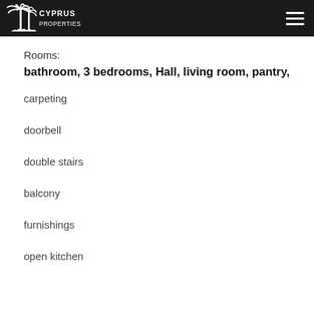Cyprus Properties
Rooms:
bathroom, 3 bedrooms, Hall, living room, pantry,
carpeting
doorbell
double stairs
balcony
furnishings
open kitchen